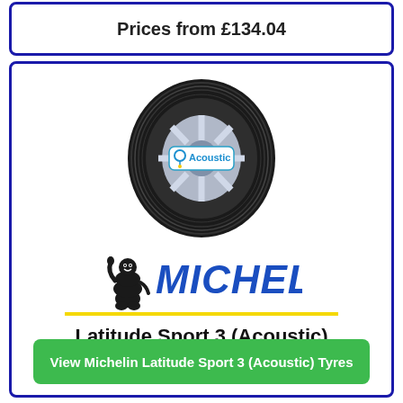Prices from £134.04
[Figure (illustration): Michelin Latitude Sport 3 (Acoustic) tyre image with Acoustic badge, and Michelin brand logo with Bibendum mascot and yellow underline]
Latitude Sport 3 (Acoustic)
View Michelin Latitude Sport 3 (Acoustic) Tyres